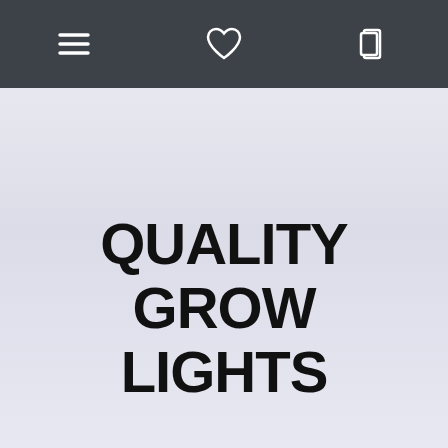Navigation bar with menu, heart/wishlist, and cart icons
QUALITY GROW LIGHTS